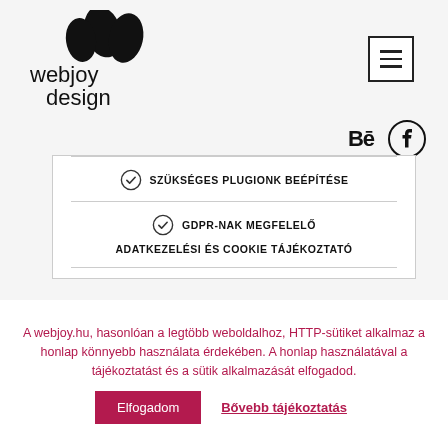[Figure (logo): Webjoy Design logo with stylized leaf/bean shapes above the text 'webjoy design']
[Figure (other): Hamburger menu icon (three horizontal lines) in a square border]
[Figure (other): Behance and Facebook social media icons]
SZÜKSÉGES PLUGIONK BEÉPÍTÉSE
GDPR-NAK MEGFELELŐ ADATKEZELÉSI ÉS COOKIE TÁJÉKOZTATÓ
A webjoy.hu, hasonlóan a legtöbb weboldalhoz, HTTP-sütiket alkalmaz a honlap könnyebb használata érdekében. A honlap használatával a tájékoztatást és a sütik alkalmazását elfogadod.
Elfogadom
Bővebb tájékoztatás